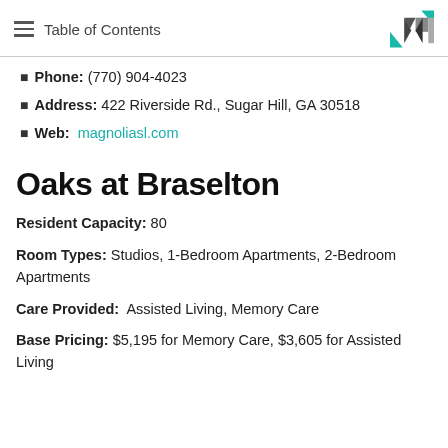Table of Contents
Phone: (770) 904-4023
Address: 422 Riverside Rd., Sugar Hill, GA 30518
Web: magnoliasl.com
Oaks at Braselton
Resident Capacity: 80
Room Types: Studios, 1-Bedroom Apartments, 2-Bedroom Apartments
Care Provided: Assisted Living, Memory Care
Base Pricing: $5,195 for Memory Care, $3,605 for Assisted Living